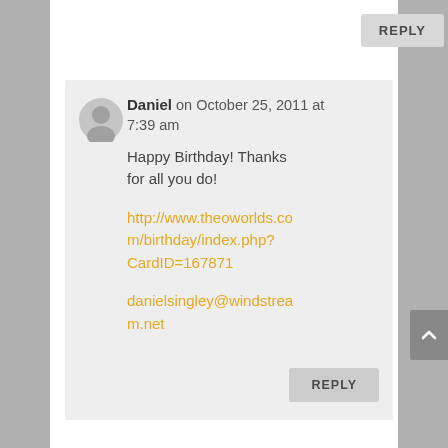REPLY
Daniel on October 25, 2011 at 7:39 am
Happy Birthday! Thanks for all you do!
http://www.theoworlds.com/birthday/index.php?CardID=167871
danielsingley@windstream.net
REPLY